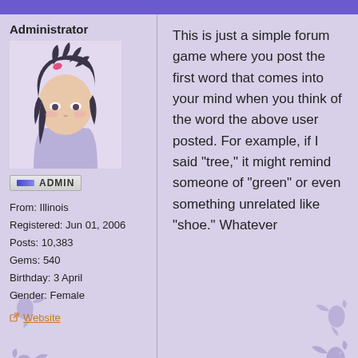Administrator
[Figure (illustration): Anime-style avatar of a dark-haired female character with a pink hair accessory, wearing a light purple top, displayed in a light purple box.]
[Figure (other): ADMIN badge — a rectangular button with a blue gradient bar on the left and 'ADMIN' text in bold capital letters.]
From: Illinois
Registered: Jun 01, 2006
Posts: 10,383
Gems: 540
Birthday: 3 April
Gender: Female
Website
This is just a simple forum game where you post the first word that comes into your mind when you think of the word the above user posted. For example, if I said "tree," it might remind someone of "green" or even something unrelated like "shoe." Whatever